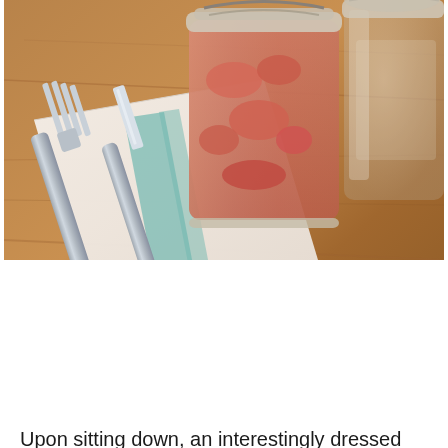[Figure (photo): A photograph of a fork and knife resting on a folded white napkin on a wooden table, with a glass jar filled with pink/red pickles in the background and another empty open glass jar to the right.]
Upon sitting down, an interestingly dressed older woman with fantastic glasses plopped down a small jar of pickles.  She quickly gave me a look and muttered, “Here are the pickles, that’s all you’re getting, it comes with your dinner” or something to that effect.  I noticed she said the same thing to other people who sat down after us.
The pickles were intensely sour with an over-